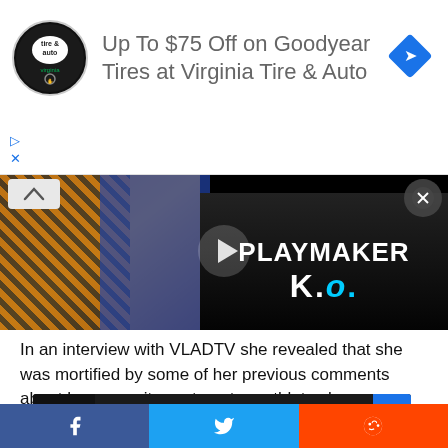[Figure (infographic): Advertisement banner: Virginia Tire & Auto logo (circular black badge), text 'Up To $75 Off on Goodyear Tires at Virginia Tire & Auto', blue diamond navigation icon on right, play/close icons on left below]
[Figure (screenshot): Video player showing dark background with 'PLAYMAKER K.O.' text and a play button triangle, partially visible person in tiger-stripe and blue outfit on left]
In an interview with VLADTV she revealed that she was mortified by some of her previous comments about how easy it was to entrap athletes because they don't wear condoms.
[Figure (screenshot): VLAD TV video thumbnail with text 'Brittany Renner on Saying: "You Ca..."' with three-dot menu and up-chevron button on right (blue)]
Facebook share | Twitter share | Reddit share